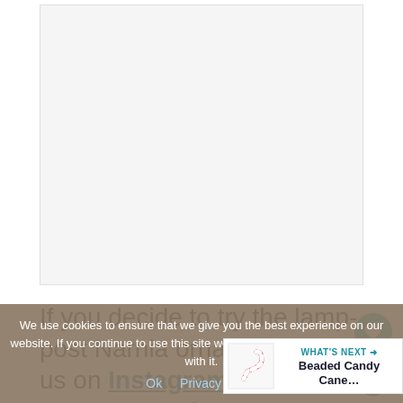[Figure (photo): Blank/white image placeholder area for a Narnia lamp-post ornament craft photo]
If you decide to try the lamp-post Narnia ornament, tag us on Instagram @MamaTeaches! We
We use cookies to ensure that we give you the best experience on our website. If you continue to use this site we will assume that you are happy with it.
Ok   Privacy policy
[Figure (infographic): What's Next widget showing Beaded Candy Cane... with a small candy cane image]